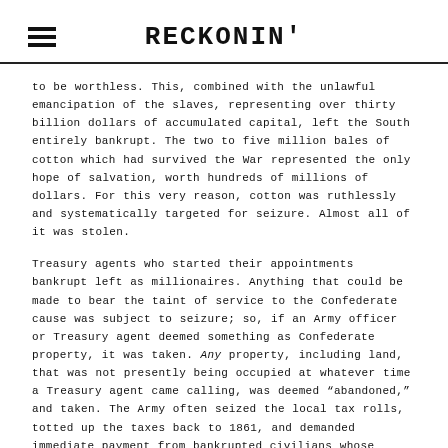RECKONIN'
to be worthless. This, combined with the unlawful emancipation of the slaves, representing over thirty billion dollars of accumulated capital, left the South entirely bankrupt. The two to five million bales of cotton which had survived the War represented the only hope of salvation, worth hundreds of millions of dollars. For this very reason, cotton was ruthlessly and systematically targeted for seizure. Almost all of it was stolen.
Treasury agents who started their appointments bankrupt left as millionaires. Anything that could be made to bear the taint of service to the Confederate cause was subject to seizure; so, if an Army officer or Treasury agent deemed something as Confederate property, it was taken. Any property, including land, that was not presently being occupied at whatever time a Treasury agent came calling, was deemed “abandoned,” and taken. The Army often seized the local tax rolls, totted up the taxes back to 1861, and demanded immediate payment from bankrupted civilians whose currency and bonds had been deemed worthless. Failure to pay meant